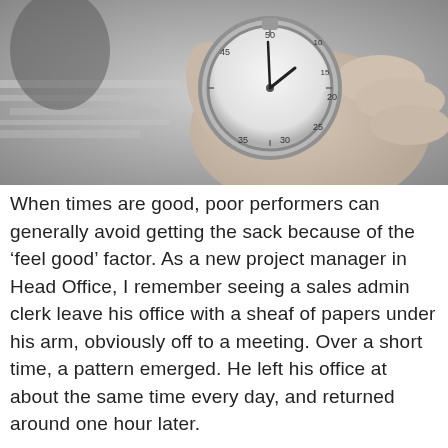[Figure (photo): Black and white photo of a hand holding a stopwatch/pocket watch close-up, with blurred papers and office items in the background.]
When times are good, poor performers can generally avoid getting the sack because of the ‘feel good’ factor. As a new project manager in Head Office, I remember seeing a sales admin clerk leave his office with a sheaf of papers under his arm, obviously off to a meeting. Over a short time, a pattern emerged. He left his office at about the same time every day, and returned around one hour later.
Every day, twice a day. A little observation revealed that he was simply taking those papers for a walk!
It goes without saying that in less certain times, poor performers are less likely to be able to keep their heads down and stay out of sight. Managers are now under